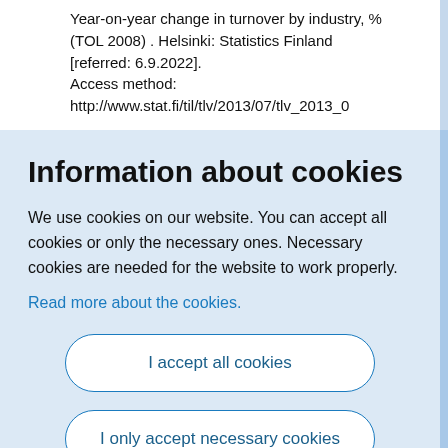Year-on-year change in turnover by industry, % (TOL 2008) . Helsinki: Statistics Finland [referred: 6.9.2022]. Access method: http://www.stat.fi/til/tlv/2013/07/tlv_2013_0
Information about cookies
We use cookies on our website. You can accept all cookies or only the necessary ones. Necessary cookies are needed for the website to work properly.
Read more about the cookies.
I accept all cookies
I only accept necessary cookies